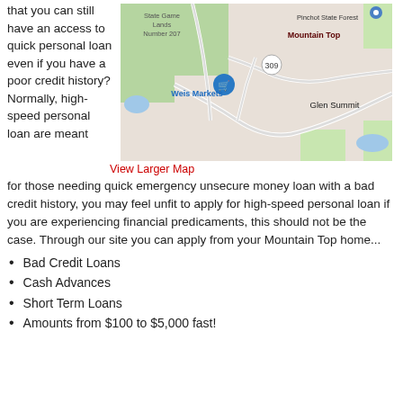that you can still have an access to quick personal loan even if you have a poor credit history? Normally, high-speed personal loan are meant
[Figure (map): Google Maps screenshot showing Mountain Top area with State Game Lands Number 207, Pinchot State Forest, Weis Markets, Glen Summit, and route 309.]
View Larger Map
for those needing quick emergency unsecure money loan with a bad credit history, you may feel unfit to apply for high-speed personal loan if you are experiencing financial predicaments, this should not be the case. Through our site you can apply from your Mountain Top home...
Bad Credit Loans
Cash Advances
Short Term Loans
Amounts from $100 to $5,000 fast!